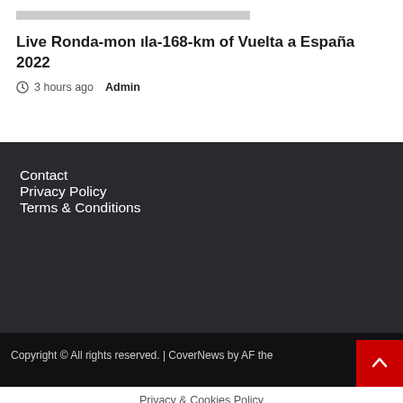[Figure (other): Gray placeholder bar at top of article card]
Live Ronda-mon ıla-168-km of Vuelta a España 2022
3 hours ago  Admin
Contact
Privacy Policy
Terms & Conditions
Copyright © All rights reserved. | CoverNews by AF the
Privacy & Cookies Policy